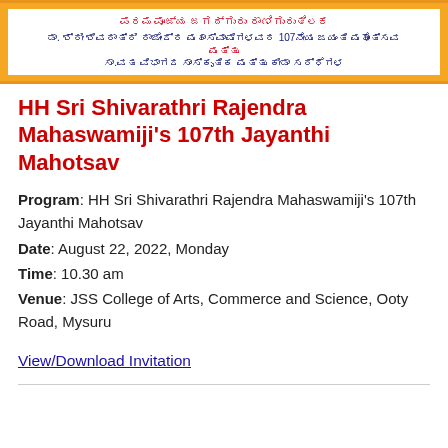[Figure (other): Orange banner with white inner box containing Kannada text describing HH Sri Shivarathri Rajendra Mahaswamiji's 107th Jayanthi Mahotsav and cultural programs]
HH Sri Shivarathri Rajendra Mahaswamiji's 107th Jayanthi Mahotsav
Program: HH Sri Shivarathri Rajendra Mahaswamiji's 107th Jayanthi Mahotsav
Date: August 22, 2022, Monday
Time: 10.30 am
Venue: JSS College of Arts, Commerce and Science, Ooty Road, Mysuru
View/Download Invitation